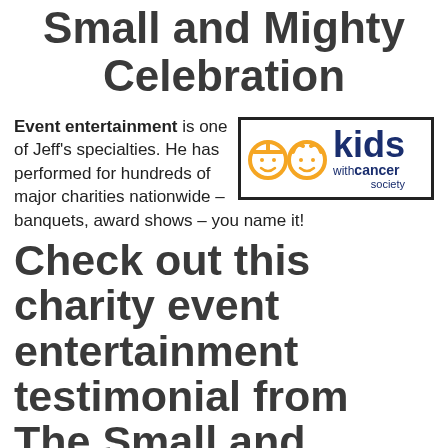Small and Mighty Celebration
Event entertainment is one of Jeff's specialties. He has performed for hundreds of major charities nationwide – banquets, award shows – you name it!
[Figure (logo): Kids With Cancer Society logo — two orange cartoon child face icons and bold blue text reading 'kids withCANCER society']
Check out this charity event entertainment testimonial from The Small and Mighty.